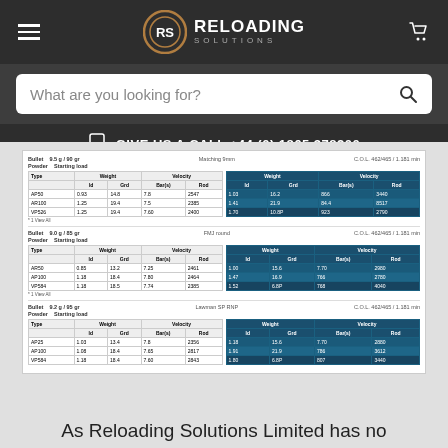[Figure (logo): Reloading Solutions logo with circular RS emblem and text RELOADING SOLUTIONS]
What are you looking for?
GIVE US A CALL +44 (0) 1865 378200
| Bullet | Matching 9mm | C.O.L. 462/465 / 1.181 min |
| --- | --- | --- |
| Bullet | FMJ round | C.O.L. 462/465 / 1.181 min |
| --- | --- | --- |
| Bullet | Lawman SP RNP | C.O.L. 462/465 / 1.181 min |
| --- | --- | --- |
As Reloading Solutions Limited has no